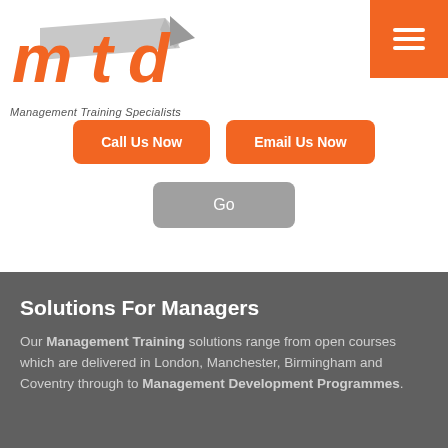[Figure (logo): MTD Management Training Specialists logo - orange italic 'mtd' text with grey arrow, tagline reads 'Management Training Specialists']
Call Us Now
Email Us Now
Go
Solutions For Managers
Our Management Training solutions range from open courses which are delivered in London, Manchester, Birmingham and Coventry through to Management Development Programmes.